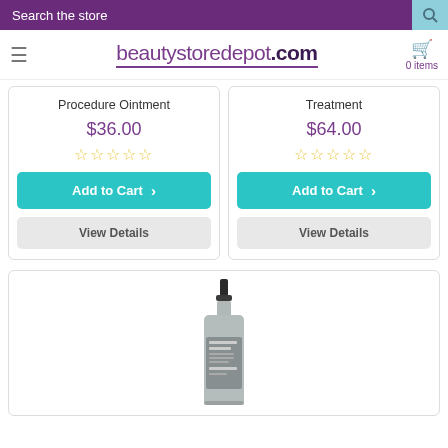Search the store
[Figure (logo): beautystoredepot.com logo with hamburger menu and cart showing 0 items]
Procedure Ointment
$36.00
☆☆☆☆☆
Add to Cart
View Details
Treatment
$64.00
☆☆☆☆☆
Add to Cart
View Details
[Figure (photo): Product bottle - a silver pump bottle skincare product]